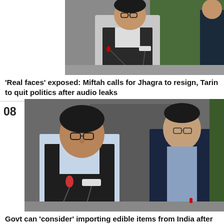[Figure (photo): Man in black vest and white shirt speaking at a press conference with microphones, green background visible behind him.]
'Real faces' exposed: Miftah calls for Jhagra to resign, Tarin to quit politics after audio leaks
[Figure (photo): Two men at a press conference: Miftah Ismail in glasses and black vest speaking into microphones, another man in a dark suit beside him.]
Govt can 'consider' importing edible items from India after flood destruction: Miftah